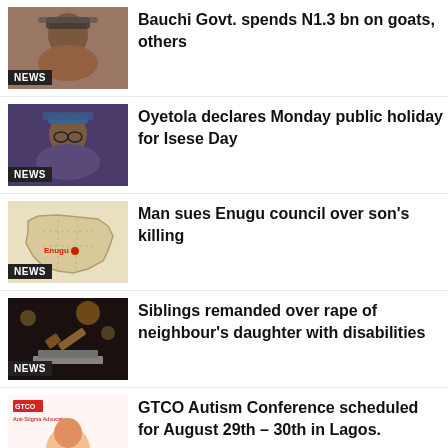[Figure (photo): Portrait photo of a man wearing a cap, with NEWS badge overlay]
Bauchi Govt. spends N1.3 bn on goats, others
[Figure (photo): Portrait photo of a man wearing traditional cap and glasses, with NEWS badge overlay]
Oyetola declares Monday public holiday for Isese Day
[Figure (map): Map of Nigeria with Enugu highlighted in red, with NEWS badge overlay]
Man sues Enugu council over son's killing
[Figure (photo): Dark photo with gavel and books, with NEWS badge overlay]
Siblings remanded over rape of neighbour's daughter with disabilities
[Figure (photo): GTCO Autism Advocates promotional image with NEWS badge overlay]
GTCO Autism Conference scheduled for August 29th – 30th in Lagos.